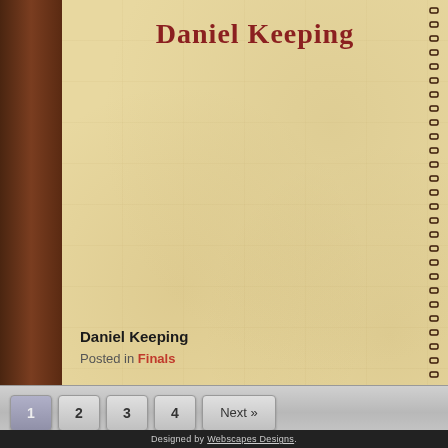Daniel Keeping
Daniel Keeping
Posted in Finals
Designed by Webscapes Designs.